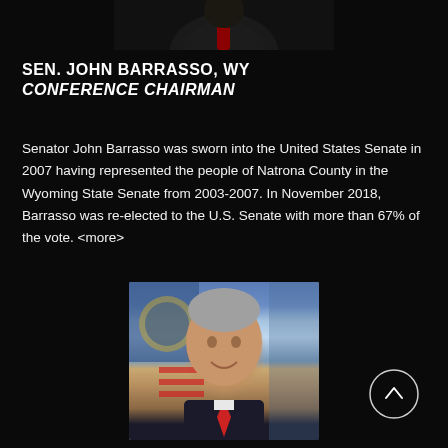[Figure (photo): Partial photo of Senator John Barrasso at top of page, showing lower portion of figure in suit with red tie against dark background]
SEN. JOHN BARRASSO, WY
CONFERENCE CHAIRMAN
Senator John Barrasso was sworn into the United States Senate in 2007 having represented the people of Natrona County in the Wyoming State Senate from 2003-2007. In November 2018, Barrasso was re-elected to the U.S. Senate with more than 67% of the vote. <more>
[Figure (photo): Portrait photo of a smiling older man with gray hair wearing a dark suit and red tie, with American flag and seal visible in background]